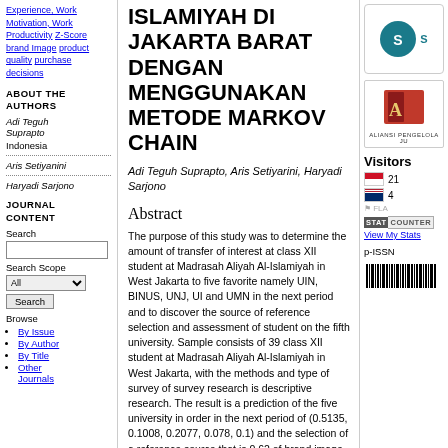Experience, Work Motivation, Work Productivity Z-Score brand Image product quality purchase decisions
ABOUT THE AUTHORS
Adi Teguh Suprapto
Indonesia
Aris Setiyanini
Haryadi Sarjono
JOURNAL CONTENT
Search
Search Scope
All
Search
Browse
By Issue
By Author
By Title
Other Journals
ISLAMIYAH DI JAKARTA BARAT DENGAN MENGGUNAKAN METODE MARKOV CHAIN
Adi Teguh Suprapto, Aris Setiyarini, Haryadi Sarjono
Abstract
The purpose of this study was to determine the amount of transfer of interest at class XII student at Madrasah Aliyah Al-Islamiyah in West Jakarta to five favorite namely UIN, BINUS, UNJ, UI and UMN in the next period and to discover the source of reference selection and assessment of student on the fifth university. Sample consists of 39 class XII student at Madrasah Aliyah Al-Islamiyah in West Jakarta, with the methods and type of survey of survey research is descriptive research. The result is a prediction of the five university in order in the next period of (0.5135, 0.1008, 0.2077, 0.078, 0.1) and the selection of a reference source that is 0.62 of brand image, 0.583 of the promotional events, 0.582 from friends and 0.54 of the university security. Largest market share held by UIN enthusiasts of 51%, while the smallest market share owned by UI enthusiasts is equal to 8%.
[Figure (logo): Journal logo with teal circle and S letter]
[Figure (logo): Book logo with Aliansi Pengelola Ju text]
Visitors
21
4
STAT COUNTER
View My Stats
p-ISSN
[Figure (other): Barcode image]